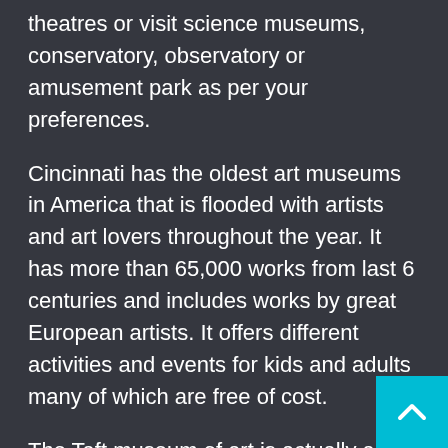theatres or visit science museums, conservatory, observatory or amusement park as per your preferences.
Cincinnati has the oldest art museums in America that is flooded with artists and art lovers throughout the year. It has more than 65,000 works from last 6 centuries and includes works by great European artists. It offers different activities and events for kids and adults many of which are free of cost.
The Taft museum of art is actually an old house built in Greek revival style that was donated by the Tafts who were great lovers of art in 1927. It hosts art works from American as well as European artists. The activities here include walking tours, live music, gallery ta and afternoon presentations by local artis